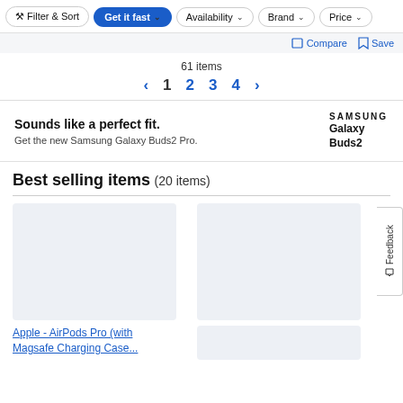Filter & Sort | Get it fast | Availability | Brand | Price
Compare  Save
61 items
< 1 2 3 4 >
[Figure (infographic): Samsung Galaxy Buds2 advertisement banner. Text: Sounds like a perfect fit. Get the new Samsung Galaxy Buds2 Pro. Logo: SAMSUNG Galaxy Buds2]
Best selling items (20 items)
Apple - AirPods Pro (with Magsafe Charging Case...